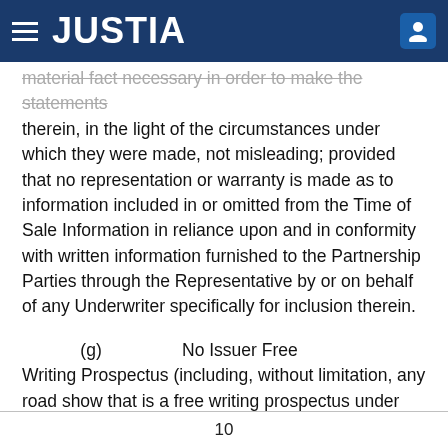JUSTIA
material fact necessary in order to make the statements therein, in the light of the circumstances under which they were made, not misleading; provided that no representation or warranty is made as to information included in or omitted from the Time of Sale Information in reliance upon and in conformity with written information furnished to the Partnership Parties through the Representative by or on behalf of any Underwriter specifically for inclusion therein.
(g)    No Issuer Free Writing Prospectus (including, without limitation, any road show that is a free writing prospectus under Rule 433 of the Rules and Regulations), when
10